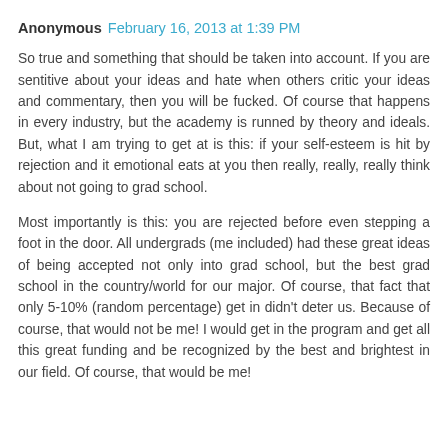Anonymous February 16, 2013 at 1:39 PM
So true and something that should be taken into account. If you are sentitive about your ideas and hate when others critic your ideas and commentary, then you will be fucked. Of course that happens in every industry, but the academy is runned by theory and ideals. But, what I am trying to get at is this: if your self-esteem is hit by rejection and it emotional eats at you then really, really, really think about not going to grad school.
Most importantly is this: you are rejected before even stepping a foot in the door. All undergrads (me included) had these great ideas of being accepted not only into grad school, but the best grad school in the country/world for our major. Of course, that fact that only 5-10% (random percentage) get in didn't deter us. Because of course, that would not be me! I would get in the program and get all this great funding and be recognized by the best and brightest in our field. Of course, that would be me!